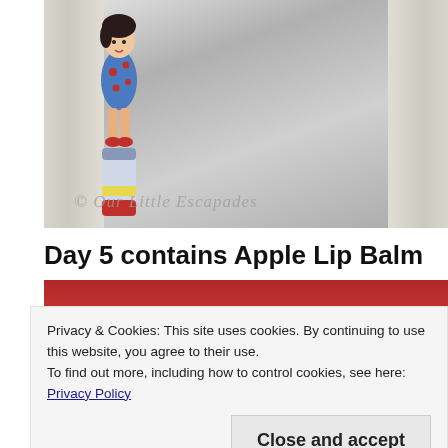[Figure (photo): Photo of a lip balm product with a cartoon girl character on it, leaning against white-painted weathered wood. Watermark reads '© Our Little Escapades'.]
Day 5 contains Apple Lip Balm
[Figure (photo): Partially visible photo with bluish-grey background, likely showing a lip balm product. Lower portion obscured by cookie consent banner.]
Privacy & Cookies: This site uses cookies. By continuing to use this website, you agree to their use.
To find out more, including how to control cookies, see here: Privacy Policy
Close and accept